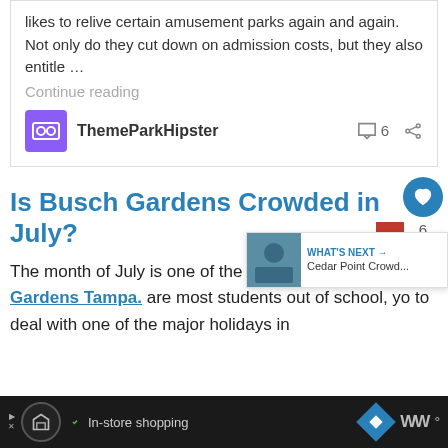likes to relive certain amusement parks again and again. Not only do they cut down on admission costs, but they also entitle …
Continue reading
ThemeParkHipster
Is Busch Gardens Crowded in July?
The month of July is one of the busiest times at Busch Gardens Tampa. are most students out of school, you to deal with one of the major holidays in
WHAT'S NEXT → Cedar Point Crowd...